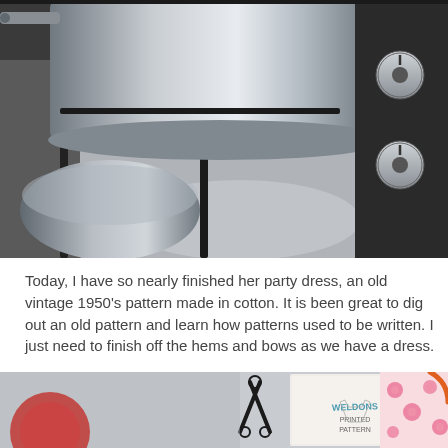[Figure (photo): Close-up photograph of a stainless steel pot on a gas stove/hob, with control knobs visible on the right side.]
Today, I have so nearly finished her party dress, an old vintage 1950's pattern made in cotton. It is been great to dig out an old pattern and learn how patterns used to be written. I just need to finish off the hems and bows as we have a dress.
[Figure (photo): Partial photograph showing a sewing pattern envelope labelled 'WELDONS PRINTED PATTERN' with number 8624, alongside pink floral fabric and scissors.]